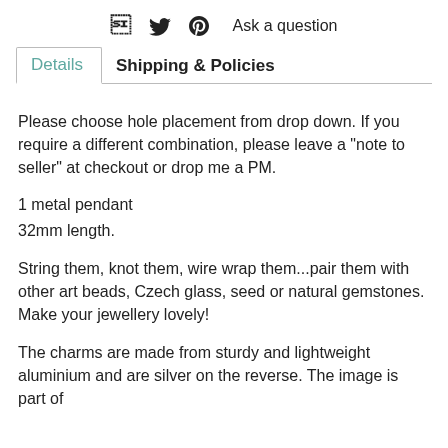f  🐦  p  Ask a question
Details  Shipping & Policies
Please choose hole placement from drop down. If you require a different combination, please leave a "note to seller" at checkout or drop me a PM.
1 metal pendant
32mm length.
String them, knot them, wire wrap them...pair them with other art beads, Czech glass, seed or natural gemstones. Make your jewellery lovely!
The charms are made from sturdy and lightweight aluminium and are silver on the reverse. The image is part of